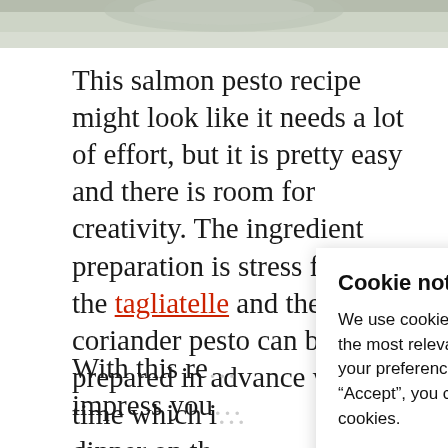[Figure (photo): Top portion of a food/recipe photo, showing a plate on a light wooden surface, partially cropped.]
This salmon pesto recipe might look like it needs a lot of effort, but it is pretty easy and there is room for creativity. The ingredient preparation is stress free and the tagliatelle and the coriander pesto can be prepared in advance wh... time which i... dinner on th...
Cookie notice
We use cookies on our website to give you the most relevant experience by remembering your preferences and repeat visits. By clicking “Accept”, you consent to the use of ALL the cookies.
Cookie settings  ACCEPT
With this re... impress you...